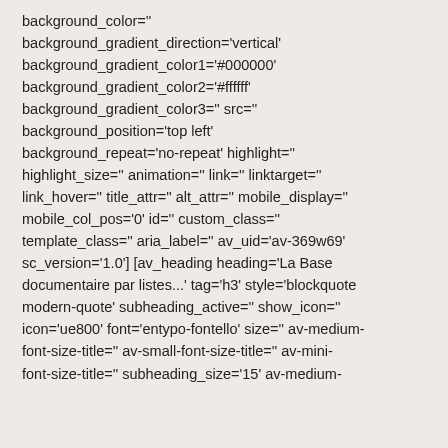background_color='' background_gradient_direction='vertical' background_gradient_color1='#000000' background_gradient_color2='#ffffff' background_gradient_color3='' src='' background_position='top left' background_repeat='no-repeat' highlight='' highlight_size='' animation='' link='' linktarget='' link_hover='' title_attr='' alt_attr='' mobile_display='' mobile_col_pos='0' id='' custom_class='' template_class='' aria_label='' av_uid='av-369w69' sc_version='1.0'] [av_heading heading='La Base documentaire par listes...' tag='h3' style='blockquote modern-quote' subheading_active='' show_icon='' icon='ue800' font='entypo-fontello' size='' av-medium-font-size-title='' av-small-font-size-title='' av-mini-font-size-title='' subheading_size='15' av-medium-